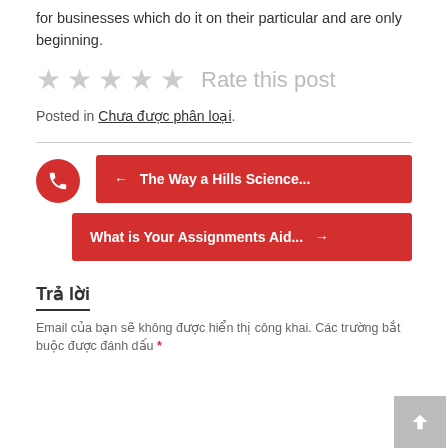for businesses which do it on their particular and are only beginning.
[Figure (other): Five empty star rating icons followed by 'Rate this post' text]
Posted in Chưa được phân loại.
[Figure (other): Navigation buttons: red phone circle icon, '← The Way a Hills Science...' button, 'What is Your Assignments Aid... →' button]
Trả lời
Email của bạn sẽ không được hiển thị công khai. Các trường bắt buộc được đánh dấu *